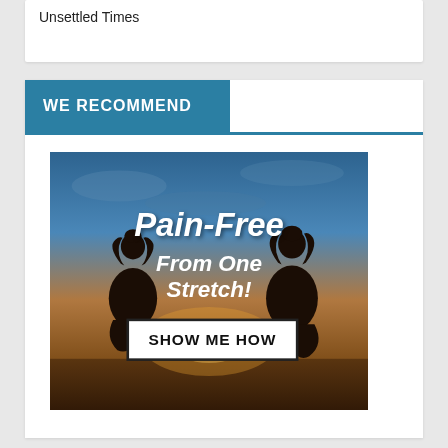Unsettled Times
WE RECOMMEND
[Figure (illustration): Advertisement image showing two silhouettes in yoga meditation pose against a sunset sky background, with text 'Pain-Free From One Stretch!' and a button 'SHOW ME HOW']